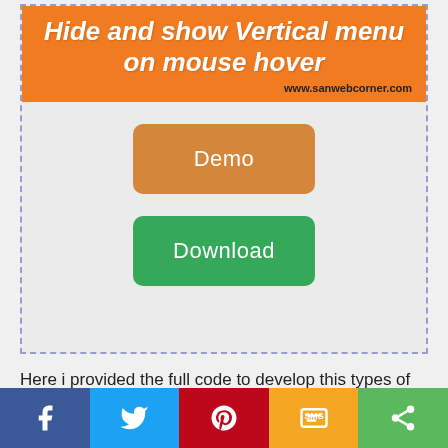Hide and show Vertical menu on mouse hover
www.sanwebcorner.com
[Figure (screenshot): Orange button labeled Demo]
[Figure (screenshot): Green button labeled Download]
Here i provided the full code to develop this types of
[Figure (infographic): Social sharing bar with Facebook, Twitter, Pinterest, SMS, and Share icons]